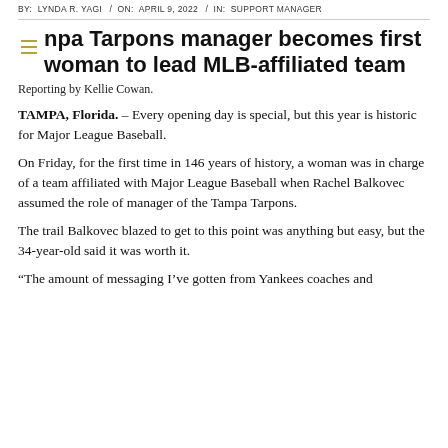BY: LYNDA R. YAGI / ON: APRIL 9, 2022 / IN: SUPPORT MANAGER
Tampa Tarpons manager becomes first woman to lead MLB-affiliated team
Reporting by Kellie Cowan.
TAMPA, Florida. – Every opening day is special, but this year is historic for Major League Baseball.
On Friday, for the first time in 146 years of history, a woman was in charge of a team affiliated with Major League Baseball when Rachel Balkovec assumed the role of manager of the Tampa Tarpons.
The trail Balkovec blazed to get to this point was anything but easy, but the 34-year-old said it was worth it.
“The amount of messaging I’ve gotten from Yankees coaches and